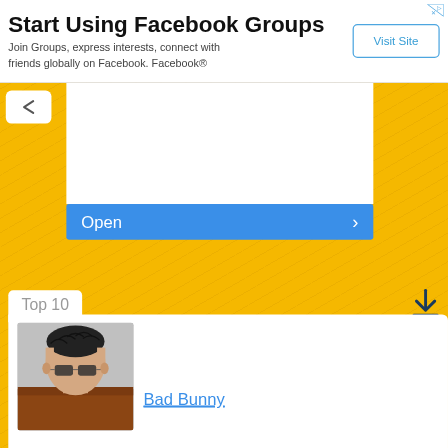[Figure (screenshot): Advertisement banner: Start Using Facebook Groups with Visit Site button]
Start Using Facebook Groups
Join Groups, express interests, connect with friends globally on Facebook. Facebook®
[Figure (screenshot): Yellow striped background with white content card showing Open button with right arrow]
Open ›
Top 10
[Figure (photo): Photo of artist Bad Bunny with braided hair and sunglasses]
Bad Bunny